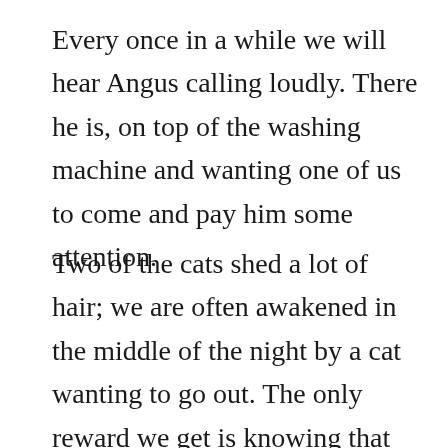Every once in a while we will hear Angus calling loudly. There he is, on top of the washing machine and wanting one of us to come and pay him some attention.
Two of the cats shed a lot of hair; we are often awakened in the middle of the night by a cat wanting to go out. The only reward we get is knowing that they like us and feel secure being in the same